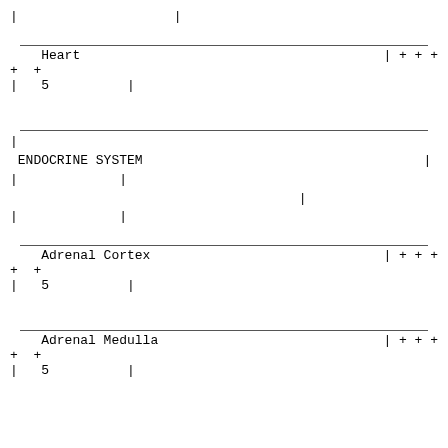|                    |
| Heart | | + + + |
| + + |  |
| |   5          | |  |
|
 ENDOCRINE SYSTEM
|             |
                                     |
|             |
| Adrenal Cortex | | + + + |
| + + |  |
| |   5          | |  |
| Adrenal Medulla | | + + + |
| + + |  |
| |   5          | |  |